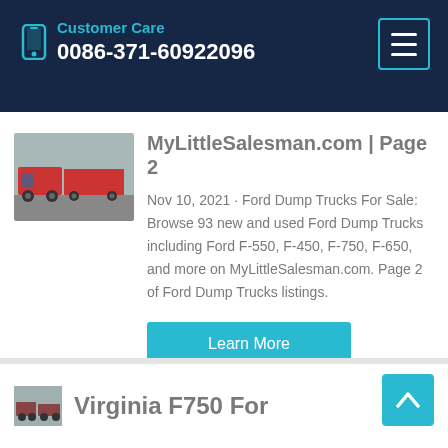Customer Care 0086-371-60922096
MyLittleSalesman.com | Page 2
Nov 10, 2021 · Ford Dump Trucks For Sale: Browse 93 new and used Ford Dump Trucks including Ford F-550, F-450, F-750, F-650, and more on MyLittleSalesman.com. Page 2 of Ford Dump Trucks listings.
Learn More
Virginia F750 For